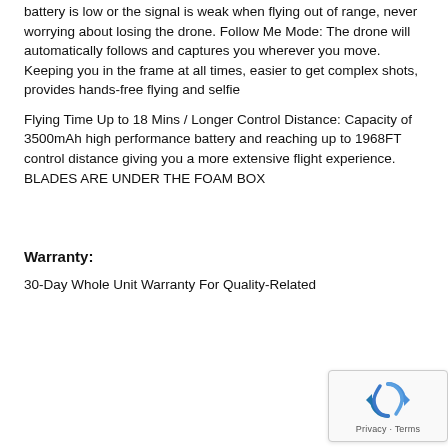battery is low or the signal is weak when flying out of range, never worrying about losing the drone. Follow Me Mode: The drone will automatically follows and captures you wherever you move. Keeping you in the frame at all times, easier to get complex shots, provides hands-free flying and selfie
Flying Time Up to 18 Mins / Longer Control Distance: Capacity of 3500mAh high performance battery and reaching up to 1968FT control distance giving you a more extensive flight experience. BLADES ARE UNDER THE FOAM BOX
Warranty:
30-Day Whole Unit Warranty For Quality-Related
[Figure (other): reCAPTCHA widget overlay showing recycling arrows logo and 'Privacy - Terms' text]